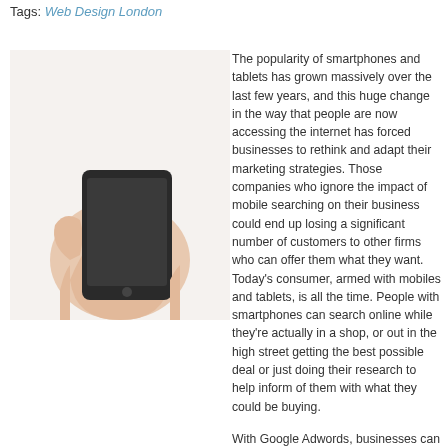Tags: Web Design London
[Figure (photo): A hand holding a black smartphone, viewed from the side against a white background.]
The popularity of smartphones and tablets has grown massively over the last few years, and this huge change in the way that people are now accessing the internet has forced businesses to rethink and adapt their marketing strategies. Those companies who ignore the impact of mobile searching on their business could end up losing a significant number of customers to other firms who can offer them what they want. Today's consumer, armed with mobiles and tablets, is all the time. People with smartphones can search online while they're actually in a shop, or out in the high street getting the best possible deal or just doing their research to help inform of them with what they could be buying.
With Google Adwords, businesses can target their advertisements depending on keywords that their target market might be searching for specific products, but how much businesses actually taken advantage of searches from mobile devices? Smartphones and tablets have completely revolutionised the way in which customers search, research and decide what they're going to buy, and so you should make sure your Adwords strategy fully incorporates mobile phones, tablets and voice-activated searches.
So how do you make sure you stay ahead?
With smartphones and tablets soon